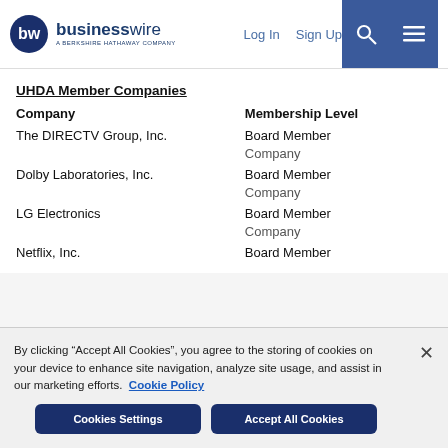businesswire - A Berkshire Hathaway Company | Log In | Sign Up
UHDA Member Companies
| Company | Membership Level |
| --- | --- |
| The DIRECTV Group, Inc. | Board Member |
|  | Company |
| Dolby Laboratories, Inc. | Board Member |
|  | Company |
| LG Electronics | Board Member |
|  | Company |
| Netflix, Inc. | Board Member |
By clicking “Accept All Cookies”, you agree to the storing of cookies on your device to enhance site navigation, analyze site usage, and assist in our marketing efforts. Cookie Policy
Cookies Settings | Accept All Cookies